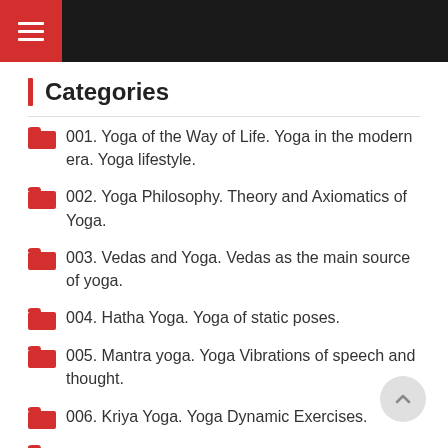Navigation menu header with hamburger icon
Categories
001. Yoga of the Way of Life. Yoga in the modern era. Yoga lifestyle.
002. Yoga Philosophy. Theory and Axiomatics of Yoga.
003. Vedas and Yoga. Vedas as the main source of yoga.
004. Hatha Yoga. Yoga of static poses.
005. Mantra yoga. Yoga Vibrations of speech and thought.
006. Kriya Yoga. Yoga Dynamic Exercises.
007. Yoga of Prostration. Cyclic exercises.
008. Pranayama Yoga. Yoga of breathing...